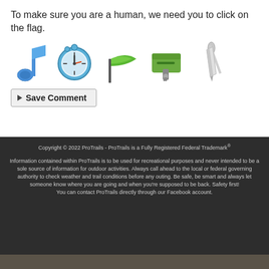To make sure you are a human, we need you to click on the flag.
[Figure (illustration): Five CAPTCHA icons in a row: a blue musical note, a blue clock, a green flag, a green mailbox/stamp, and a gray pen/pencil]
Save Comment
Copyright © 2022 ProTrails - ProTrails is a Fully Registered Federal Trademark®
Information contained within ProTrails is to be used for recreational purposes and never intended to be a sole source of information for outdoor activities. Always call ahead to the local or federal governing authority to check weather and trail conditions before any outing. Be safe, be smart and always let someone know where you are going and when you're supposed to be back. Safety first! You can contact ProTrails directly through our Facebook account.